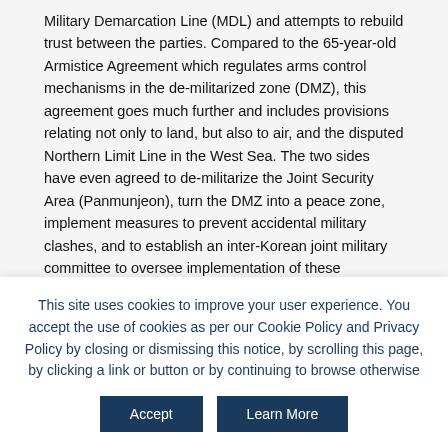Military Demarcation Line (MDL) and attempts to rebuild trust between the parties. Compared to the 65-year-old Armistice Agreement which regulates arms control mechanisms in the de-militarized zone (DMZ), this agreement goes much further and includes provisions relating not only to land, but also to air, and the disputed Northern Limit Line in the West Sea. The two sides have even agreed to de-militarize the Joint Security Area (Panmunjeon), turn the DMZ into a peace zone, implement measures to prevent accidental military clashes, and to establish an inter-Korean joint military committee to oversee implementation of these agreements.
The agreement is a welcome step in efforts to curb and control military conventional risks on the Korean Peninsula and can also serve as a pre-cursor to an "end of war" declaration and
This site uses cookies to improve your user experience. You accept the use of cookies as per our Cookie Policy and Privacy Policy by closing or dismissing this notice, by scrolling this page, by clicking a link or button or by continuing to browse otherwise